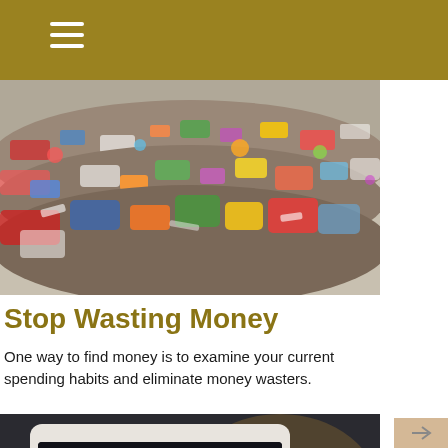[Figure (photo): Large pile of mixed waste and garbage — plastics, fabrics, paper, various colored debris piled high at what appears to be a landfill or sorting facility]
Stop Wasting Money
One way to find money is to examine your current spending habits and eliminate money wasters.
[Figure (photo): A hand holding a tablet/e-reader device showing the text 'BUYING & WASTING' on its screen, with a dark background behind it]